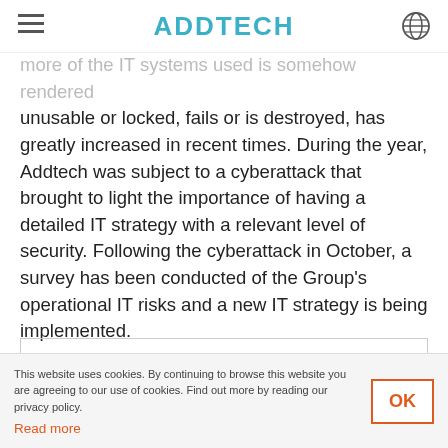ADDTECH
more of the IT systems used is somehow rendered unusable or locked, fails or is destroyed, has greatly increased in recent times. During the year, Addtech was subject to a cyberattack that brought to light the importance of having a detailed IT strategy with a relevant level of security. Following the cyberattack in October, a survey has been conducted of the Group's operational IT risks and a new IT strategy is being implemented.
| RISK/DESCRIPTION |
| --- |
This website uses cookies. By continuing to browse this website you are agreeing to our use of cookies. Find out more by reading our privacy policy.
Read more